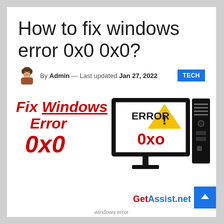How to fix windows error 0x0 0x0?
By Admin — Last updated Jan 27, 2022  TECH
[Figure (illustration): Graphic showing 'Fix Windows Error 0x0' text in red italic bold, alongside a monitor displaying 'ERROR! 0xo' with a warning triangle, and a desktop PC tower, all in black and white illustration style. Bottom right has GetAssist.net logo with blue arrow button.]